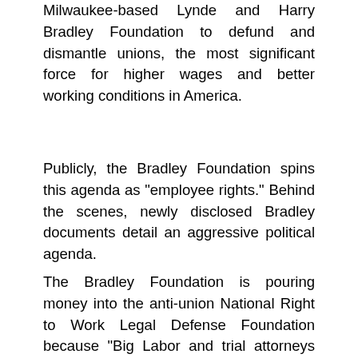Milwaukee-based Lynde and Harry Bradley Foundation to defund and dismantle unions, the most significant force for higher wages and better working conditions in America.
Publicly, the Bradley Foundation spins this agenda as "employee rights." Behind the scenes, newly disclosed Bradley documents detail an aggressive political agenda.
The Bradley Foundation is pouring money into the anti-union National Right to Work Legal Defense Foundation because "Big Labor and trial attorneys are the two principal funding pillars of the left" (NRWLDF, Grant Proposal Record, 11/12/2013). It wants the Independence Institute in Colorado to "defund teacher's unions and achieve real education reform" at the local level (Barder Fund, 8/18/15). It is funding the Freedom Foundation in Washington State to "defund Big Labor" (the word "Washington State" was cut off)